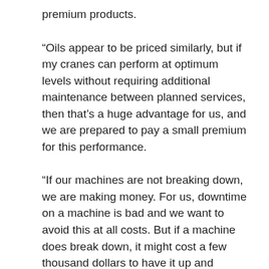premium products.
“Oils appear to be priced similarly, but if my cranes can perform at optimum levels without requiring additional maintenance between planned services, then that’s a huge advantage for us, and we are prepared to pay a small premium for this performance.
“If our machines are not breaking down, we are making money. For us, downtime on a machine is bad and we want to avoid this at all costs. But if a machine does break down, it might cost a few thousand dollars to have it up and running, but when you factor in the salary of the two or three guys required to operate the machine, their unproductive time really starts to add up and can cost serious money,” he said.